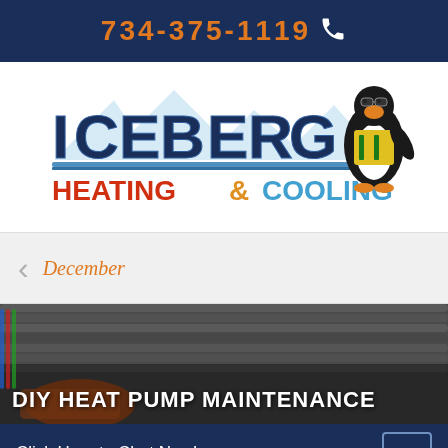734-375-1119
[Figure (logo): Iceberg Heating & Cooling company logo with penguin mascot wearing sunglasses and a tropical shirt]
December
[Figure (photo): Close-up photo of heat pump coils/condenser with orange equipment visible, with overlaid text DIY HEAT PUMP MAINTENANCE]
Click Here to Chat Now!